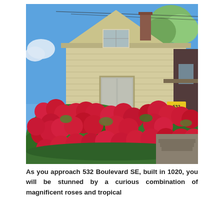[Figure (photo): Exterior photograph of a craftsman-style house with cream/tan siding and a peaked gable roof. A large blooming red rose bush fills the foreground, nearly obscuring the lower half of the house facade. Blue sky and green trees are visible in the background. A yellow address sign (532) is partially visible on the right side near the porch.]
As you approach 532 Boulevard SE, built in 1020, you will be stunned by a curious combination of magnificent roses and tropical